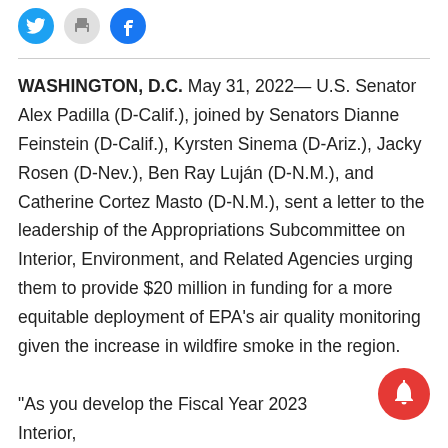[Figure (other): Social media share icons: Twitter (blue circle), Print (gray circle), Facebook (blue circle)]
WASHINGTON, D.C. May 31, 2022— U.S. Senator Alex Padilla (D-Calif.), joined by Senators Dianne Feinstein (D-Calif.), Kyrsten Sinema (D-Ariz.), Jacky Rosen (D-Nev.), Ben Ray Luján (D-N.M.), and Catherine Cortez Masto (D-N.M.), sent a letter to the leadership of the Appropriations Subcommittee on Interior, Environment, and Related Agencies urging them to provide $20 million in funding for a more equitable deployment of EPA's air quality monitoring given the increase in wildfire smoke in the region.
“As you develop the Fiscal Year 2023 Interior, Environment, and Related Agencies…